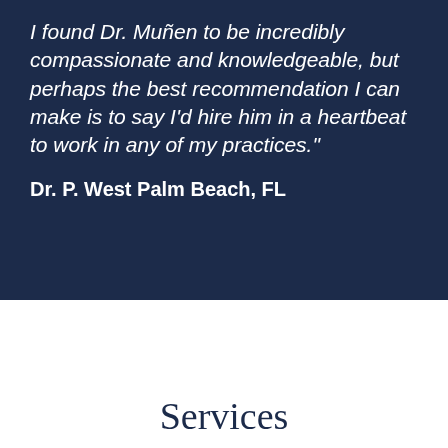I found Dr. Muñen to be incredibly compassionate and knowledgeable, but perhaps the best recommendation I can make is to say I'd hire him in a heartbeat to work in any of my practices."
Dr. P.  West Palm Beach, FL
Services